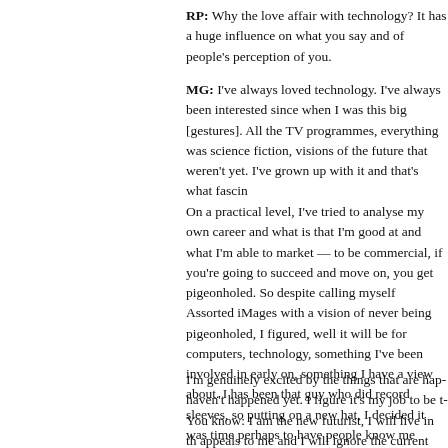RP: Why the love affair with technology? It has a huge influence on what you say and of people's perception of you.
MG: I've always loved technology. I've always been interested since when I was this big [gestures]. All the TV programmes, everything was science fiction, visions of the future that weren't yet. I've grown up with it and that's what fascin...
On a practical level, I've tried to analyse my own career and what is that I'm good at and what I'm able to market. To be commercial, if you're going to succeed and move on, you get pigeonholed. So despite calling myself Assorted iMages with a vision of never being pigeonholed, I figured, well the niche for it will be for computers, technology, something I've been involved in early on, something I have a view about. And I has been that guy who did record sleeves, so putting on a new hat, I decided it was time perhaps to have people know me about. I would much rather be known as Malcolm Garrett, the guy with computers, than Malcom Garrett, the guy w...
I'm genuinely excited by the things that are hap... haven't happened yet. I figure it's my job to be t... You know: I am the new futurist, I will live in th... appeals to me and I will ignore the current techn... else will sort out the technology. That's the Japa... and everybody is positive and optimistic and yo...